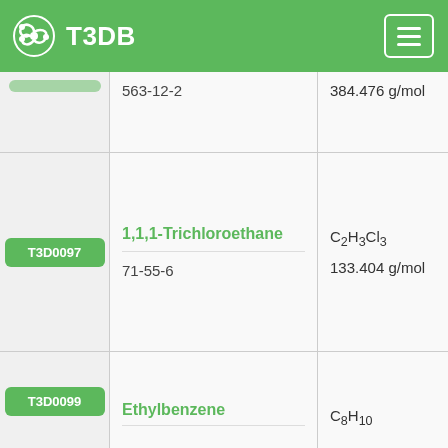T3DB
| ID | Name / CAS | Formula / MW |
| --- | --- | --- |
| (badge) | 563-12-2 | 384.476 g/mol |
| T3D0097 | 1,1,1-Trichloroethane
71-55-6 | C2H3Cl3
133.404 g/mol |
| T3D0099 | Ethylbenzene
100-41-4 | C8H10
106.165 g/mol |